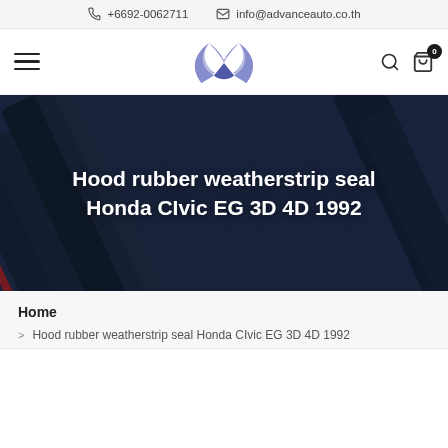+6692-0062711   info@advanceauto.co.th
[Figure (logo): Advance Auto logo — two ribbon-like curved shapes forming a letter A in blue/purple gradient]
Hood rubber weatherstrip seal Honda CIvic EG 3D 4D 1992
Home
> Hood rubber weatherstrip seal Honda CIvic EG 3D 4D 1992